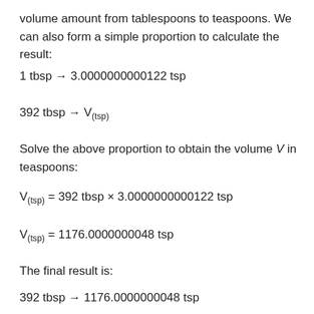volume amount from tablespoons to teaspoons. We can also form a simple proportion to calculate the result:
Solve the above proportion to obtain the volume V in teaspoons:
The final result is: